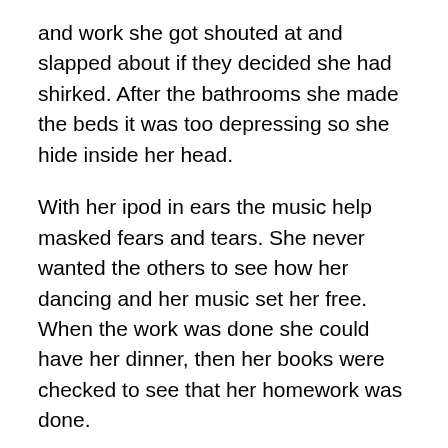and work she got shouted at and slapped about if they decided she had shirked. After the bathrooms she made the beds it was too depressing so she hide inside her head.
With her ipod in ears the music help masked fears and tears. She never wanted the others to see how her dancing and her music set her free. When the work was done she could have her dinner, then her books were checked to see that her homework was done.
In her tiny room up in the eaves, she was happy alone with sound of the rustling leaves. This was the only place she could call her own, her stepsisters now used her old room and the one that was her mom's. Sometimes she remembered when all of this house had been her home she had been a happy dancer then as through the